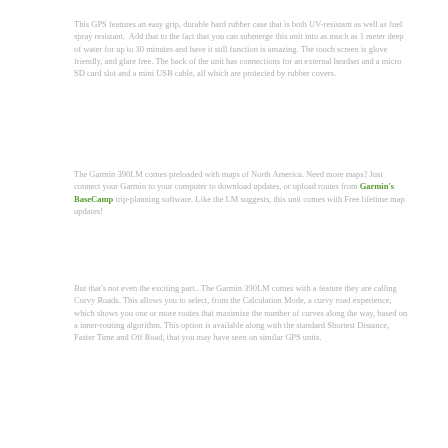This GPS features an easy grip, durable hard rubber case that is both UV-resistant as well as fuel spray resistant.  Add that to the fact that you can submerge this unit into as much as 1 meter deep of water for up to 30 minutes and have it still function is amazing. The touch screen is glove friendly, and glare free. The back of the unit has connections for an external headset and a micro SD card slot and a mini USB cable, all which are protected by rubber covers.
The Garmin 390LM comes preloaded with maps of North America. Need more maps? Just connect your Garmin to your computer to download updates, or upload routes from Garmin's BaseCamp trip-planning software. Like the LM suggests, this unit comes with Free lifetime map updates!
But that's not even the exciting part.. The Garmin 390LM comes with a feature they are calling Curvy Roads. This allows you to select, from the Calculation Mode, a curvy road experience, which shows you one or more routes that maximize the number of curves along the way, based on a inner-routing algorithm. This option is available along with the standard Shortest Distance, Faster Time and Off Road, that you may have seen on similar GPS units.